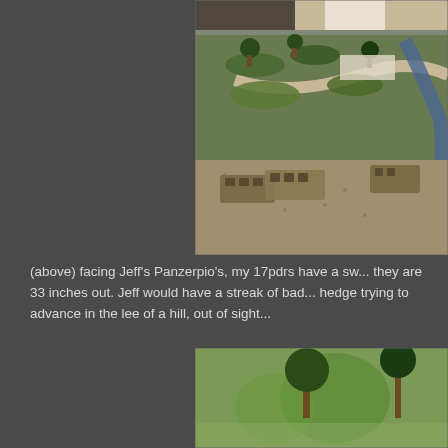[Figure (photo): Overhead photo of a wargaming table with painted miniature soldiers on bases, green terrain boards, trees, and a river/road feature. A person's hands and torso are visible at the top of the frame.]
(above) facing Jeff's Panzerpio's, my 17pdrs have a sw... they are 33 inches out. Jeff would have a streak of bad... hedge trying to advance in the lee of a hill, out of sight...
[Figure (photo): Partial photo of wargaming table showing green terrain with trees, bottom portion of image visible.]